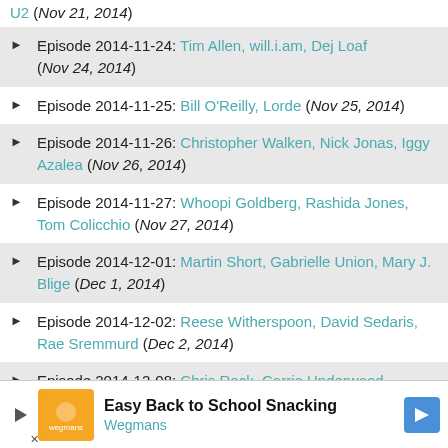U2 (Nov 21, 2014)
Episode 2014-11-24: Tim Allen, will.i.am, Dej Loaf (Nov 24, 2014)
Episode 2014-11-25: Bill O'Reilly, Lorde (Nov 25, 2014)
Episode 2014-11-26: Christopher Walken, Nick Jonas, Iggy Azalea (Nov 26, 2014)
Episode 2014-11-27: Whoopi Goldberg, Rashida Jones, Tom Colicchio (Nov 27, 2014)
Episode 2014-12-01: Martin Short, Gabrielle Union, Mary J. Blige (Dec 1, 2014)
Episode 2014-12-02: Reese Witherspoon, David Sedaris, Rae Sremmurd (Dec 2, 2014)
Episode 2014-12-08: Chris Rock, Carrie Underwood
Easy Back to School Snacking Wegmans